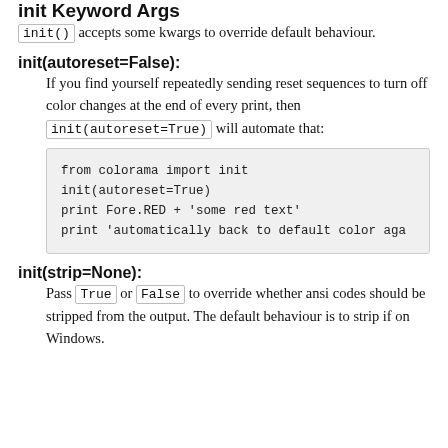init Keyword Args
init() accepts some kwargs to override default behaviour.
init(autoreset=False):
If you find yourself repeatedly sending reset sequences to turn off color changes at the end of every print, then init(autoreset=True) will automate that:
[Figure (screenshot): Code block showing: from colorama import init / init(autoreset=True) / print Fore.RED + 'some red text' / print 'automatically back to default color aga']
init(strip=None):
Pass True or False to override whether ansi codes should be stripped from the output. The default behaviour is to strip if on Windows.